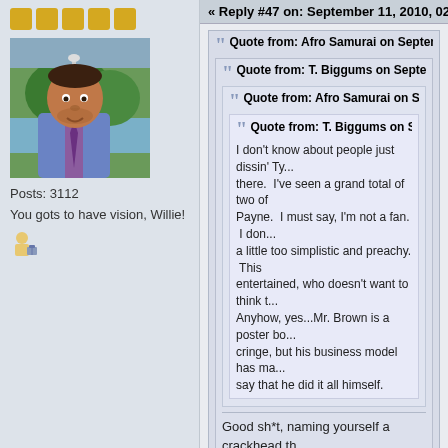[Figure (photo): Forum user avatar photo of a man in a blue suit jacket outdoors near trees and water]
Posts: 3112
You gots to have vision, Willie!
« Reply #47 on: September 11, 2010, 02:41:56
Quote from: Afro Samurai on September 11, 201...
Quote from: T. Biggums on September 10, 20...
Quote from: Afro Samurai on September 1...
Quote from: T. Biggums on September...
I don't know about people just dissin' Ty... there. I've seen a grand total of two of Payne. I must say, I'm not a fan. I don... a little too simplistic and preachy. This entertained, who doesn't want to think t... Anyhow, yes...Mr. Brown is a poster bo... cringe, but his business model has ma... say that he did it all himself.
Good sh*t, naming yourself a crackhead th... by Tyler Perry. LOL@your stupid opinions hating for no good reasons.
LOL...whatever...I may have renamed my acc... board acting like one. All this fake outrage an... time with idiots like you, but I had a few minut...